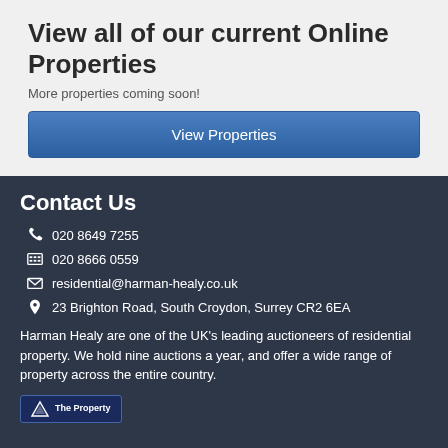View all of our current Online Properties
More properties coming soon!
View Properties
Contact Us
020 8649 7255
020 8666 0559
residential@harman-healy.co.uk
23 Brighton Road, South Croydon, Surrey CR2 6EA
Harman Healy are one of the UK’s leading auctioneers of residential property. We hold nine auctions a year, and offer a wide range of property across the entire country.
[Figure (logo): The Property logo badge]